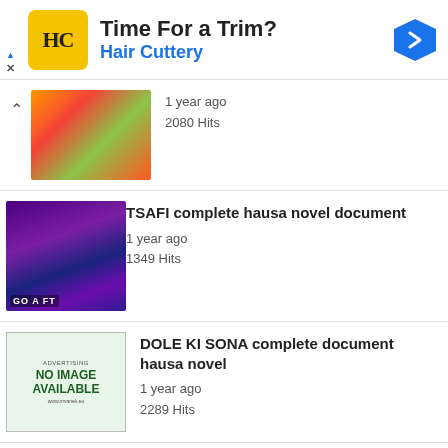[Figure (infographic): Ad banner for Hair Cuttery with logo, 'Time For a Trim?' headline, and navigation arrow icon]
1 year ago
2080 Hits
TSAFI complete hausa novel document
1 year ago
1349 Hits
DOLE KI SONA complete document hausa novel
1 year ago
2289 Hits
KAINE SIRRINA complete document hausa novel
1 year ago
1320 Hits
IN BANI complete hausa novel complete
2 years ago